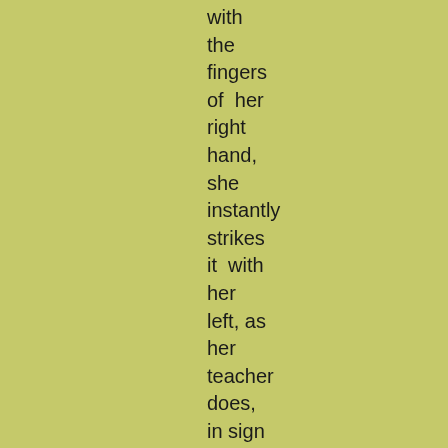with the fingers of her right hand, she instantly strikes it with her left, as her teacher does, in sign of disapprobation; if right